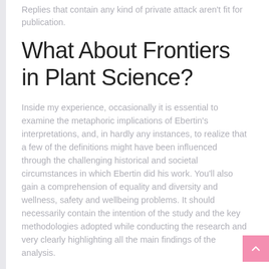Replies that contain any kind of private attack aren't fit for publication.
What About Frontiers in Plant Science?
Inside my experience, occasionally it is essential to examine the metaphoric implications of Ebertin's interpretations, and, in hardly any instances, to realize that a few of the definitions might have been influenced through the challenging historical and societal circumstances in which Ebertin did his work. You'll also gain a comprehension of equality and diversity and wellness, safety and wellbeing problems. It should necessarily contain the intention of the study and the key methodologies adopted while conducting the research and very clearly highlighting all the main findings of the analysis.
Plants are largely accountable for primary production and thus are critical for maintaining human wellbeing, but in addition they contribute in a number of other ways.